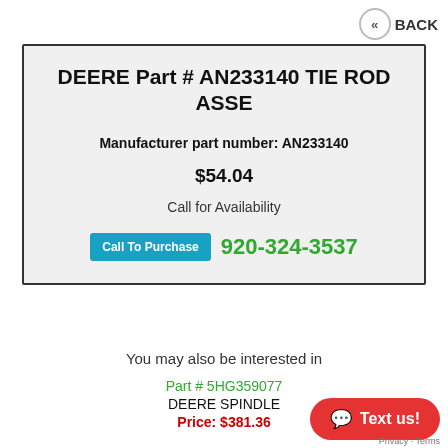<< BACK
DEERE Part # AN233140 TIE ROD ASSE
Manufacturer part number: AN233140
$54.04
Call for Availability
Call To Purchase   920-324-3537
You may also be interested in
Part # 5HG359077
DEERE SPINDLE
Price: $381.36
[Figure (other): Text us chat button (red pill-shaped button with speech bubble icon)]